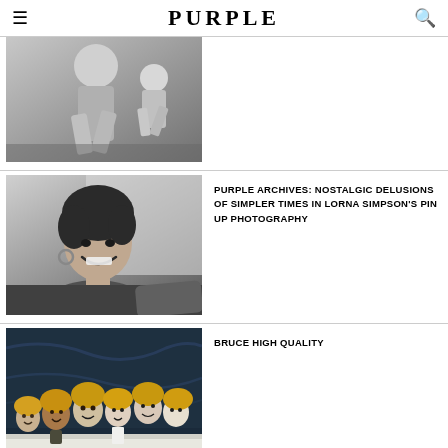PURPLE
[Figure (photo): Black and white photograph of people running or dancing, cropped at top]
[Figure (photo): Black and white photograph of a smiling woman with curly hair and hoop earrings, leaning on a surface]
PURPLE ARCHIVES: NOSTALGIC DELUSIONS OF SIMPLER TIMES IN LORNA SIMPSON'S PIN UP PHOTOGRAPHY
[Figure (photo): Color photograph of multiple mannequin heads with yellow/golden hair arrangements displayed on a white surface against a dark marble background]
BRUCE HIGH QUALITY